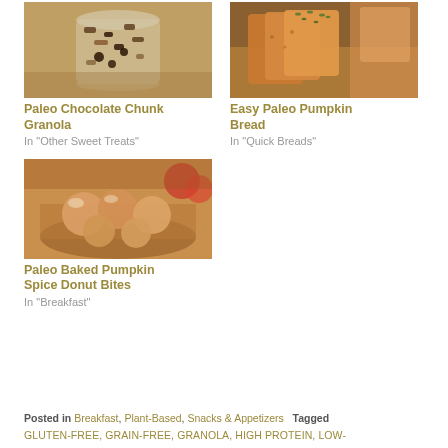[Figure (photo): Mason jar filled with paleo chocolate chunk granola, nuts and dark chocolate pieces visible, wooden surface background]
Paleo Chocolate Chunk Granola
In "Other Sweet Treats"
[Figure (photo): Sliced paleo pumpkin bread loaf with pumpkin seeds on top, on a wooden cutting board]
Easy Paleo Pumpkin Bread
In "Quick Breads"
[Figure (photo): Paleo baked pumpkin spice donut bites with glaze, in a wooden bowl with apples in background]
Paleo Baked Pumpkin Spice Donut Bites
In "Breakfast"
Posted in Breakfast, Plant-Based, Snacks & Appetizers  Tagged GLUTEN-FREE, GRAIN-FREE, GRANOLA, HIGH PROTEIN, LOW-